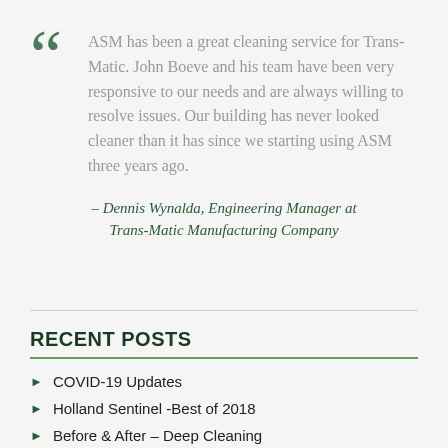ASM has been a great cleaning service for Trans-Matic. John Boeve and his team have been very responsive to our needs and are always willing to resolve issues. Our building has never looked cleaner than it has since we starting using ASM three years ago.
– Dennis Wynalda, Engineering Manager at Trans-Matic Manufacturing Company
RECENT POSTS
COVID-19 Updates
Holland Sentinel -Best of 2018
Before & After – Deep Cleaning